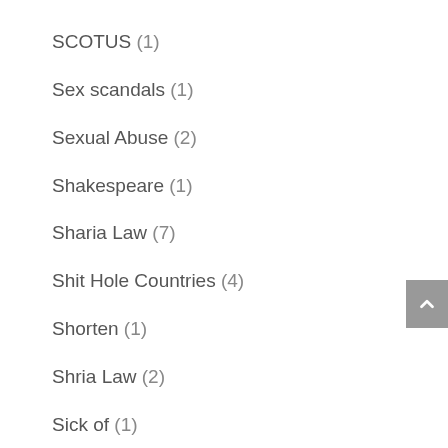SCOTUS (1)
Sex scandals (1)
Sexual Abuse (2)
Shakespeare (1)
Sharia Law (7)
Shit Hole Countries (4)
Shorten (1)
Shria Law (2)
Sick of (1)
Singapore (1)
Snowflake (2)
social justice warriors (2)